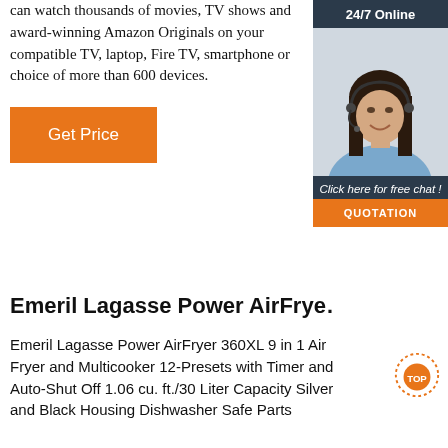can watch thousands of movies, TV shows and award-winning Amazon Originals on your compatible TV, laptop, Fire TV, smartphone or choice of more than 600 devices.
Get Price
[Figure (photo): Woman with headset smiling, customer support agent, with '24/7 Online' header, 'Click here for free chat!' text, and 'QUOTATION' orange button]
Emeril Lagasse Power AirFrye...
Emeril Lagasse Power AirFryer 360XL 9 in 1 Air Fryer and Multicooker 12-Presets with Timer and Auto-Shut Off 1.06 cu. ft./30 Liter Capacity Silver and Black Housing Dishwasher Safe Parts